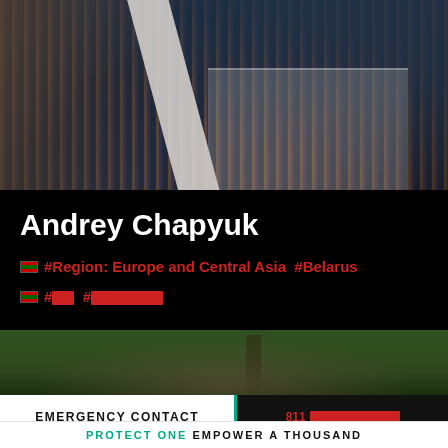[Figure (photo): Photo of a person in dark tactical/vest clothing holding a pole or staff, blurred motion background with colorful light streaks]
Andrey Chapyuk
🇧🇾 #Region: Europe and Central Asia  #Belarus
🇧🇾 #██  #████████
[Figure (photo): Partial outdoor photo showing green trees/foliage and a hand or figure, possibly outdoors in a park or forest setting]
EMERGENCY CONTACT
811 ████████████
PROTECT ONE EMPOWER A THOUSAND